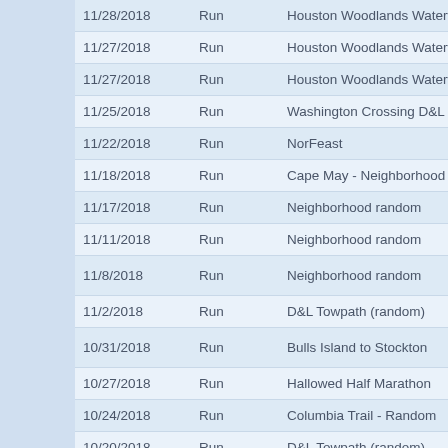| Date | Type | Name |
| --- | --- | --- |
| 11/28/2018 | Run | Houston Woodlands Waterway |
| 11/27/2018 | Run | Houston Woodlands Waterway |
| 11/27/2018 | Run | Houston Woodlands Waterway |
| 11/25/2018 | Run | Washington Crossing D&L Rando |
| 11/22/2018 | Run | NorFeast |
| 11/18/2018 | Run | Cape May - Neighborhood random |
| 11/17/2018 | Run | Neighborhood random |
| 11/11/2018 | Run | Neighborhood random |
| 11/8/2018 | Run | Neighborhood random |
| 11/2/2018 | Run | D&L Towpath (random) |
| 10/31/2018 | Run | Bulls Island to Stockton |
| 10/27/2018 | Run | Hallowed Half Marathon |
| 10/24/2018 | Run | Columbia Trail - Random |
| 10/20/2018 | Run | D&L Towpath (random) |